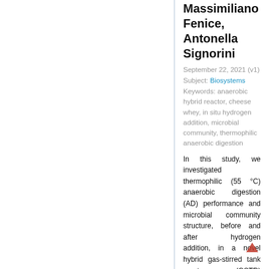Massimiliano Fenice, Antonella Signorini
September 22, 2021 (v1)
Subject: Biosystems
Keywords: anaerobic hybrid reactor, cheese whey, in situ hydrogen addition, microbial community, thermophilic anaerobic digestion
In this study, we investigated thermophilic (55 °C) anaerobic digestion (AD) performance and microbial community structure, before and after hydrogen addition, in a novel hybrid gas-stirred tank reactor (GSTR) implemented with a partial immobilization of the microbial community and fed with second cheese